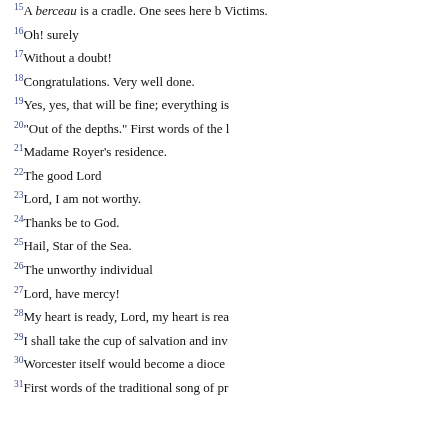15 A berceau is a cradle. One sees here b... Victims.
16 Oh! surely
17 Without a doubt!
18 Congratulations. Very well done.
19 Yes, yes, that will be fine; everything is...
20 "Out of the depths." First words of the l...
21 Madame Royer's residence.
22 The good Lord
23 Lord, I am not worthy.
24 Thanks be to God.
25 Hail, Star of the Sea.
26 The unworthy individual
27 Lord, have mercy!
28 My heart is ready, Lord, my heart is rea...
29 I shall take the cup of salvation and inv...
30 Worcester itself would become a dioce...
31 First words of the traditional song of pr...